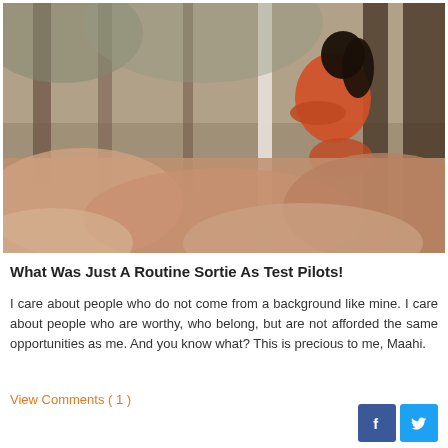[Figure (photo): Woman in red/orange outfit sitting near trees in an outdoor setting, with blurred foreground foliage]
What Was Just A Routine Sortie As Test Pilots!
I care about people who do not come from a background like mine. I care about people who are worthy, who belong, but are not afforded the same opportunities as me. And you know what? This is precious to me, Maahi.
View Comments ( 1 )